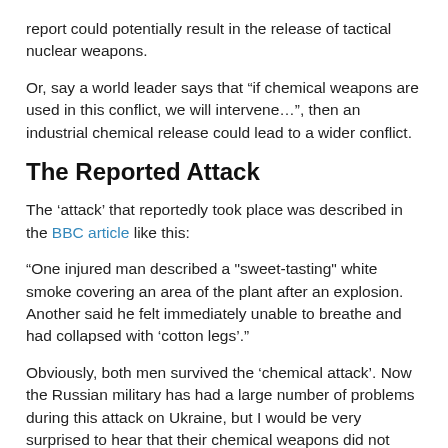report could potentially result in the release of tactical nuclear weapons.
Or, say a world leader says that “if chemical weapons are used in this conflict, we will intervene…”, then an industrial chemical release could lead to a wider conflict.
The Reported Attack
The ‘attack’ that reportedly took place was described in the BBC article like this:
“One injured man described a "sweet-tasting" white smoke covering an area of the plant after an explosion. Another said he felt immediately unable to breathe and had collapsed with ‘cotton legs’.”
Obviously, both men survived the ‘chemical attack’. Now the Russian military has had a large number of problems during this attack on Ukraine, but I would be very surprised to hear that their chemical weapons did not work. They have a long history back through the Soviet days of developing and producing chemical weapons. So, if there were a Russian